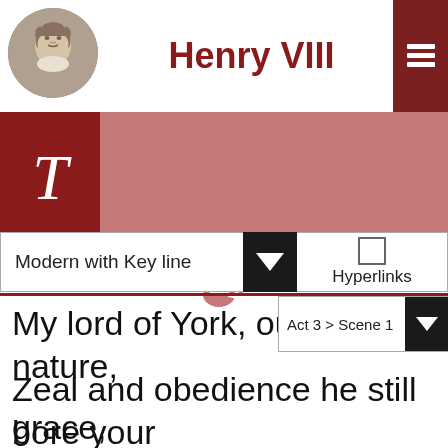Henry VIII
[Figure (screenshot): Navigation bar with Shakespeare portrait circle, title 'Henry VIII', and icons for text, characters, groups, menu, and archive]
Modern with Key line
Hyperlinks
Act 3 > Scene 1
My lord of York, out o nature,
Zeal and obedience he still bore your grace,
Forgetting, like a good man, your late